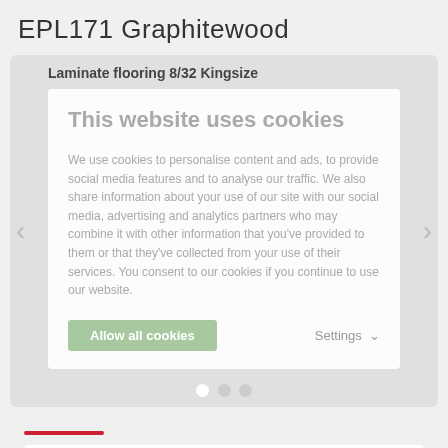EPL171 Graphitewood
Laminate flooring 8/32 Kingsize
[Figure (screenshot): Cookie consent overlay on a product image slider. Shows 'This website uses cookies' dialog with body text about cookies policy, 'Allow all cookies' button, and 'Settings' option. Navigation arrows on left and right sides, three dots at bottom.]
Floor Visualizer